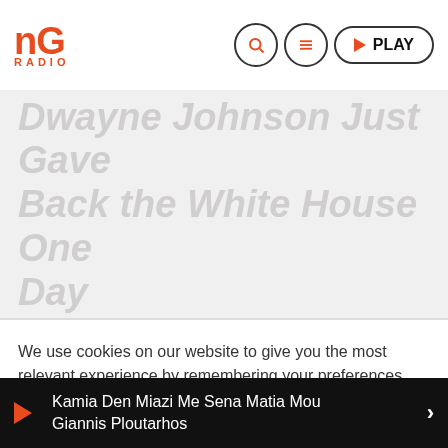NG RADIO
Dwayne Johnson Just Gave Back the White House One Day
We use cookies on our website to give you the most relevant experience by remembering your preferences and repeat visits. By clicking “Accept”, you consent to the use of ALL the cookies.
Cookie settings | ACCEPT
Kamia Den Miazi Me Sena Matia Mou Giannis Ploutarhos